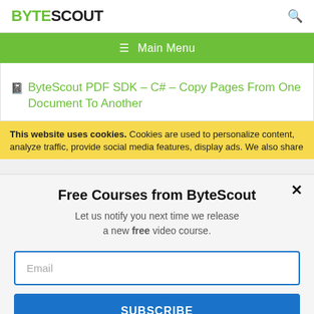BYTESCOUT
≡ Main Menu
ByteScout PDF SDK – C# – Copy Pages From One Document To Another
This website uses cookies. Cookies are used to personalize content, analyze traffic, provide social media features, display ads. We also share
Free Courses from ByteScout
Let us notify you next time we release a new free video course.
Email
SUBSCRIBE